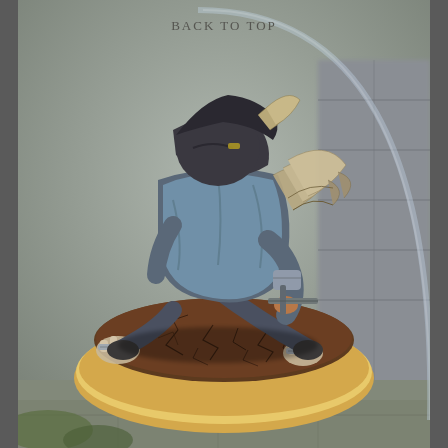[Figure (photo): A painted miniature figurine of a crouching rogue/assassin character with dark blue clothing, feathered cloak, and a weapon, posed dynamically on a cracked earth scenic base with a tan/cream rounded display plinth. A glass dome is partially visible in the background. The scene is photographed on a stone-tile surface with foliage details.]
BACK TO TOP